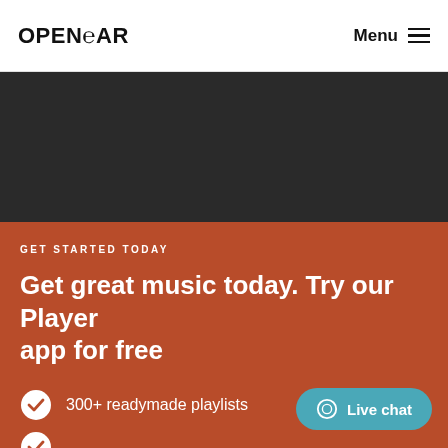OPEN EAR   Menu
[Figure (other): Dark/black background decorative section]
GET STARTED TODAY
Get great music today. Try our Player app for free
300+ readymade playlists
Live chat